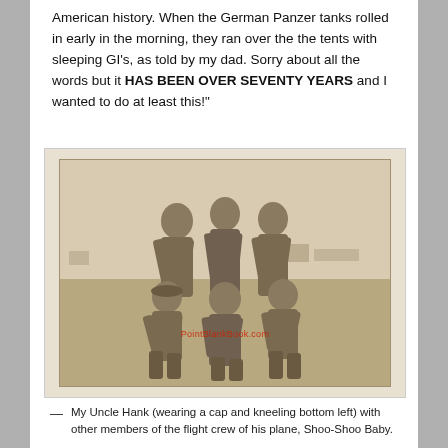American history. When the German Panzer tanks rolled in early in the morning, they ran over the the tents with sleeping GI's, as told by my dad. Sorry about all the words but it HAS BEEN OVER SEVENTY YEARS and I wanted to do at least this!"
[Figure (photo): Vintage sepia-toned group photograph of six men in military flight suits. Three men stand in the back row and three men kneel or crouch in the front row. An outdoor airfield setting is visible in the background. A red watermark reading 'PointBlankBook.com' overlays the center of the image.]
— My Uncle Hank (wearing a cap and kneeling bottom left) with other members of the flight crew of his plane, Shoo-Shoo Baby.